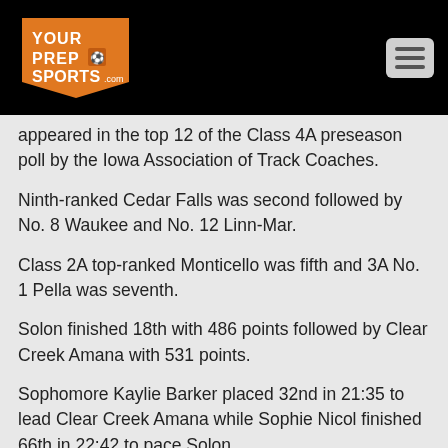[Figure (logo): YourPrepSports.com logo in orange and white on black background]
appeared in the top 12 of the Class 4A preseason poll by the Iowa Association of Track Coaches.
Ninth-ranked Cedar Falls was second followed by No. 8 Waukee and No. 12 Linn-Mar.
Class 2A top-ranked Monticello was fifth and 3A No. 1 Pella was seventh.
Solon finished 18th with 486 points followed by Clear Creek Amana with 531 points.
Sophomore Kaylie Barker placed 32nd in 21:35 to lead Clear Creek Amana while Sophie Nicol finished 66th in 22:42 to pace Solon.